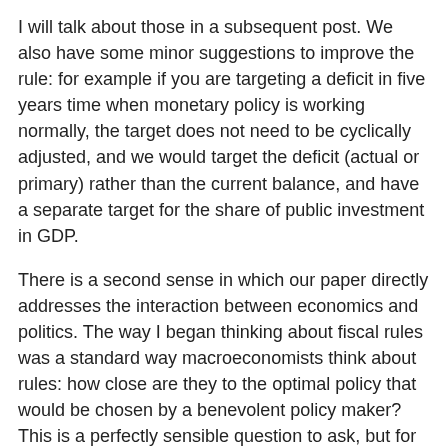I will talk about those in a subsequent post. We also have some minor suggestions to improve the rule: for example if you are targeting a deficit in five years time when monetary policy is working normally, the target does not need to be cyclically adjusted, and we would target the deficit (actual or primary) rather than the current balance, and have a separate target for the share of public investment in GDP.
There is a second sense in which our paper directly addresses the interaction between economics and politics. The way I began thinking about fiscal rules was a standard way macroeconomists think about rules: how close are they to the optimal policy that would be chosen by a benevolent policy maker? This is a perfectly sensible question to ask, but for fiscal policy it is on its own hopelessly incomplete, because we also know that politicians are often not benevolent, in the sense that they act in their own interests rather than in the interests of society as a whole. As a result, we get deficit bias, although this bias may occur for other reasons. The role of fiscal rules is to a large extent to discourage this non-benevolent behaviour.